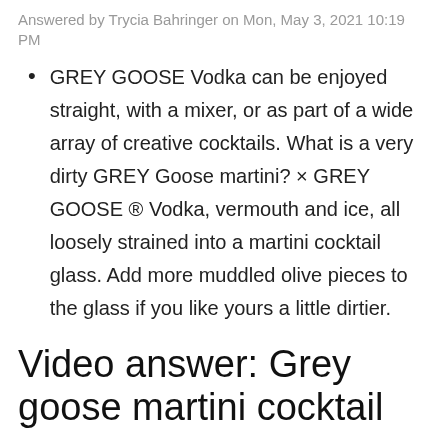Answered by Trycia Bahringer on Mon, May 3, 2021 10:19 PM
GREY GOOSE Vodka can be enjoyed straight, with a mixer, or as part of a wide array of creative cocktails. What is a very dirty GREY Goose martini? × GREY GOOSE ® Vodka, vermouth and ice, all loosely strained into a martini cocktail glass. Add more muddled olive pieces to the glass if you like yours a little dirtier.
Video answer: Grey goose martini cocktail